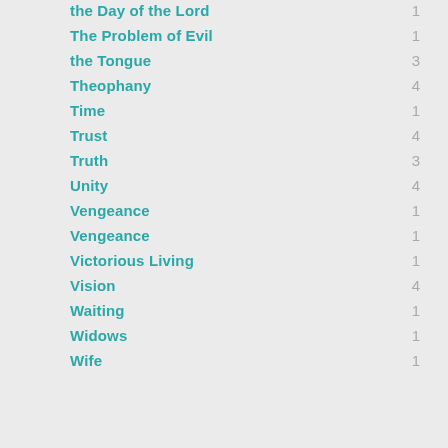the Day of the Lord	1
The Problem of Evil	1
the Tongue	3
Theophany	4
Time	1
Trust	4
Truth	3
Unity	4
Vengeance	1
Vengeance	1
Victorious Living	1
Vision	4
Waiting	1
Widows	1
Wife	1